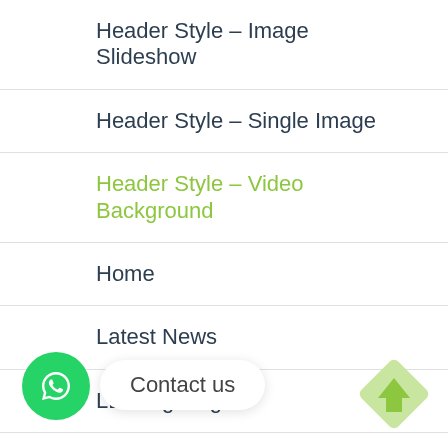Header Style – Image Slideshow
Header Style – Single Image
Header Style – Video Background
Home
Latest News
LED Lighting
MBS
My account
Oriental Copper
Partners
Contact us